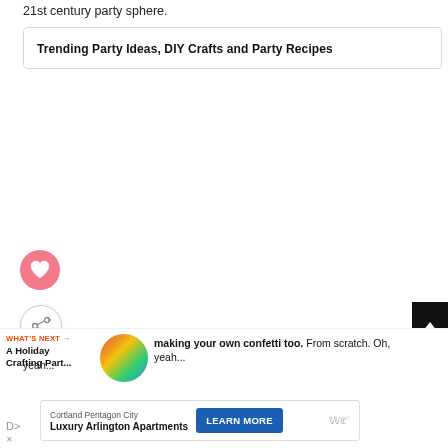21st century party sphere.
Trending Party Ideas, DIY Crafts and Party Recipes
[Figure (other): Heart/like button: pink circle with white heart icon]
[Figure (other): Share button: white circle with share/add icon]
[Figure (other): Scroll-to-top button: dark rectangle with upward arrow]
WHAT'S NEXT → A Holiday Crafting Part...
[Figure (photo): Circular thumbnail image of colorful holiday crafting party decorations]
making your own confetti too. From scratch. Oh, yeah...
Cortland Pentagon City
Luxury Arlington Apartments
LEARN MORE